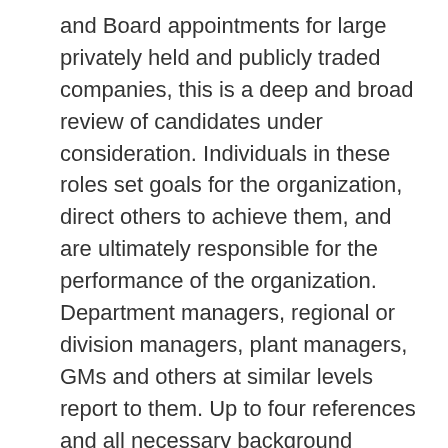and Board appointments for large privately held and publicly traded companies, this is a deep and broad review of candidates under consideration. Individuals in these roles set goals for the organization, direct others to achieve them, and are ultimately responsible for the performance of the organization. Department managers, regional or division managers, plant managers, GMs and others at similar levels report to them. Up to four references and all necessary background checks are included. Fee is based on the role/scope of responsibility, irrespective of salary. This is a critical tool in employer and Board due diligence.